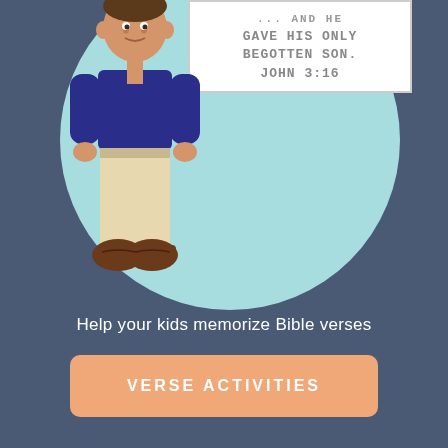[Figure (illustration): A cartoon boy wearing a dark blue shirt and beige pants with brown shoes, standing in front of a large light teal circle. He is holding or standing next to a white card showing a Bible verse.]
GAVE HIS ONLY BEGOTTEN SON. JOHN 3:16
Help your kids memorize Bible verses
VERSE ACTIVITIES